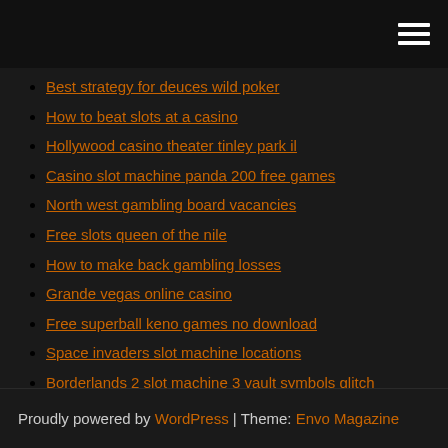Best strategy for deuces wild poker
How to beat slots at a casino
Hollywood casino theater tinley park il
Casino slot machine panda 200 free games
North west gambling board vacancies
Free slots queen of the nile
How to make back gambling losses
Grande vegas online casino
Free superball keno games no download
Space invaders slot machine locations
Borderlands 2 slot machine 3 vault symbols glitch
Proudly powered by WordPress | Theme: Envo Magazine